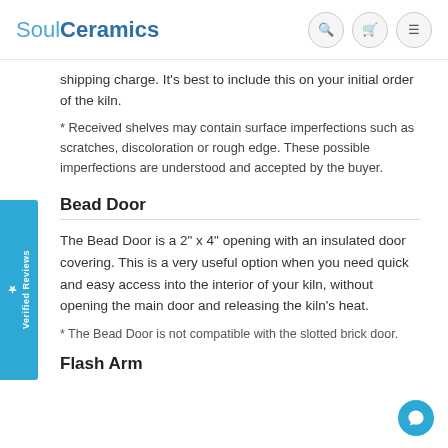SoulCeramics
shipping charge. It's best to include this on your initial order of the kiln.
* Received shelves may contain surface imperfections such as scratches, discoloration or rough edge. These possible imperfections are understood and accepted by the buyer.
Bead Door
The Bead Door is a 2" x 4" opening with an insulated door covering. This is a very useful option when you need quick and easy access into the interior of your kiln, without opening the main door and releasing the kiln's heat.
* The Bead Door is not compatible with the slotted brick door.
Flash Arm